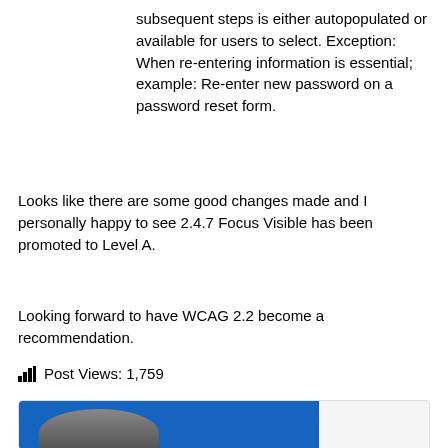subsequent steps is either autopopulated or available for users to select. Exception: When re-entering information is essential; example: Re-enter new password on a password reset form.
Looks like there are some good changes made and I personally happy to see 2.4.7 Focus Visible has been promoted to Level A.
Looking forward to have WCAG 2.2 become a recommendation.
Post Views: 1,759
[Figure (photo): A profile card or author card with a blue header background and a silhouette/portrait of a person visible at the bottom of the card.]